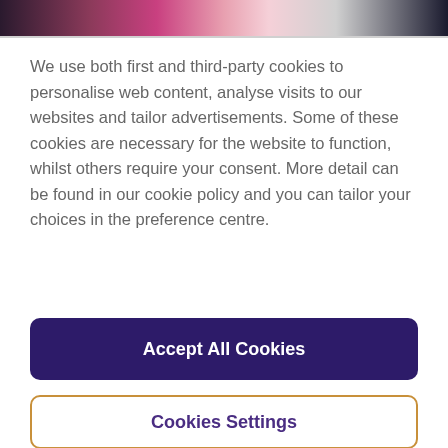[Figure (photo): Partial photo strip at top showing blurred people with pink and dark tones]
We use both first and third-party cookies to personalise web content, analyse visits to our websites and tailor advertisements. Some of these cookies are necessary for the website to function, whilst others require your consent. More detail can be found in our cookie policy and you can tailor your choices in the preference centre.
Accept All Cookies
Cookies Settings